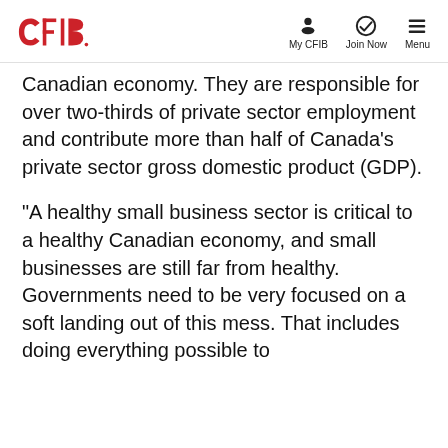CFIB | My CFIB | Join Now | Menu
Canadian economy. They are responsible for over two-thirds of private sector employment and contribute more than half of Canada’s private sector gross domestic product (GDP).
“A healthy small business sector is critical to a healthy Canadian economy, and small businesses are still far from healthy. Governments need to be very focused on a soft landing out of this mess. That includes doing everything possible to